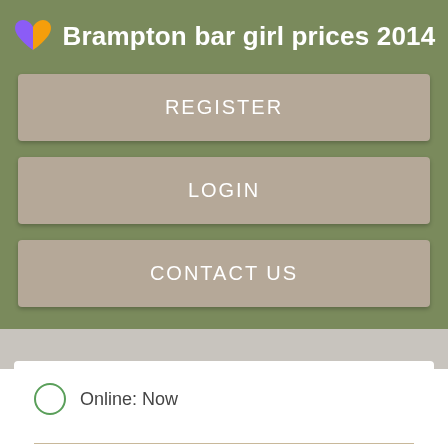Brampton bar girl prices 2014
REGISTER
LOGIN
CONTACT US
Online: Now
About
When you kiss do it pboobiesionately and when you hug